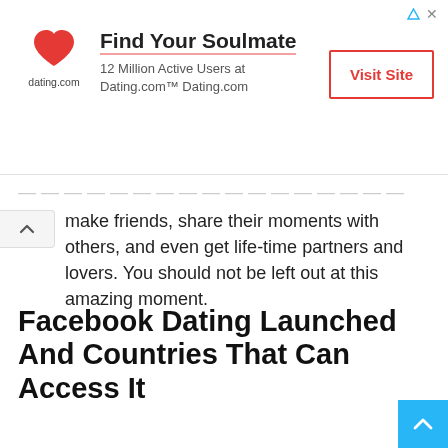[Figure (other): Dating.com advertisement banner with heart logo, 'Find Your Soulmate' headline, '12 Million Active Users at Dating.com™ Dating.com' subtitle, and 'Visit Site' button]
make friends, share their moments with others, and even get life-time partners and lovers. You should not be left out at this amazing moment.
Facebook Dating Launched And Countries That Can Access It
This amazing feature for singles has been made available right on the Facebook site.
If you are a Facebook user, you can quickly access it with few and easy steps. However, not all Facebook users are